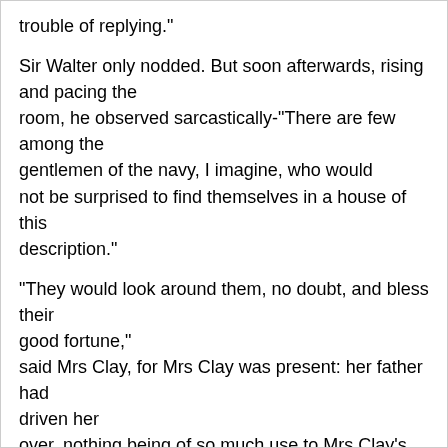trouble of replying."
Sir Walter only nodded. But soon afterwards, rising and pacing the room, he observed sarcastically-"There are few among the gentlemen of the navy, I imagine, who would not be surprised to find themselves in a house of this description."
"They would look around them, no doubt, and bless their good fortune," said Mrs Clay, for Mrs Clay was present: her father had driven her over, nothing being of so much use to Mrs Clay's health as a drive to Kellynch: "but I quite agree with my father in thinking a sailor might be a very desirable tenant. I have known a good deal of the profession; and besides their liberality, they are so neat and careful in all their ways! These valuable pictures of yours, Sir Walter, if